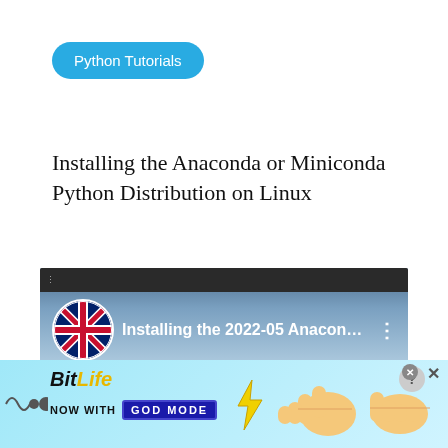Python Tutorials
Installing the Anaconda or Miniconda Python Distribution on Linux
[Figure (screenshot): YouTube video thumbnail showing UK flag icon and title 'Installing the 2022-05 Anacond...' with three-dot menu]
Privacy & Cookies: This site uses cookies. By continuing to use this website, you agree to their use.
To find out more, including how to control cookies, see here: Cookie Policy
[Figure (screenshot): BitLife advertisement banner: 'NOW WITH GOD MODE' with hand pointing icon and close buttons]